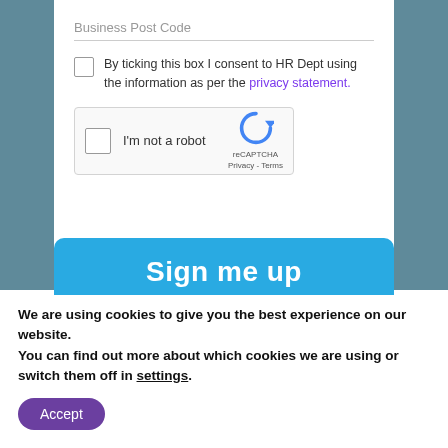Business Post Code
By ticking this box I consent to HR Dept using the information as per the privacy statement.
[Figure (other): reCAPTCHA widget with checkbox labeled 'I'm not a robot' and reCAPTCHA logo with Privacy - Terms text]
[Figure (other): Blue 'Sign me up' button]
We are using cookies to give you the best experience on our website.
You can find out more about which cookies we are using or switch them off in settings.
Accept